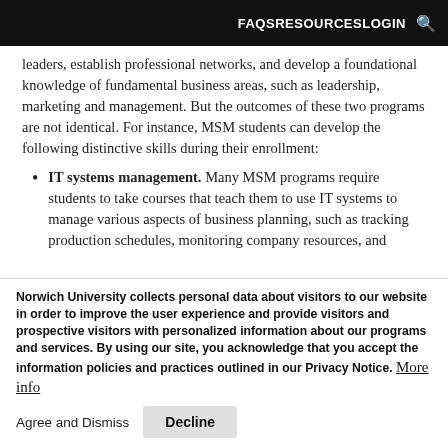FAQS   RESOURCES   LOGIN   🔍
leaders, establish professional networks, and develop a foundational knowledge of fundamental business areas, such as leadership, marketing and management. But the outcomes of these two programs are not identical. For instance, MSM students can develop the following distinctive skills during their enrollment:
IT systems management. Many MSM programs require students to take courses that teach them to use IT systems to manage various aspects of business planning, such as tracking production schedules, monitoring company resources, and
Norwich University collects personal data about visitors to our website in order to improve the user experience and provide visitors and prospective visitors with personalized information about our programs and services. By using our site, you acknowledge that you accept the information policies and practices outlined in our Privacy Notice. More info
Agree and Dismiss   Decline